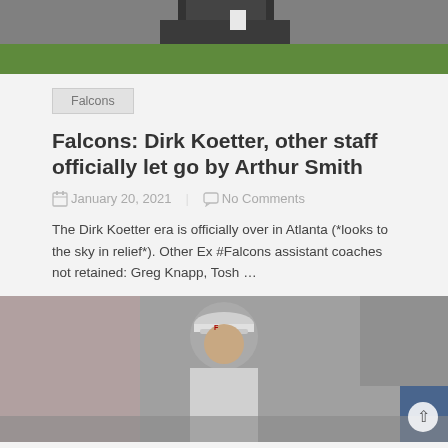[Figure (photo): Top portion of a photo showing a person (coach) on a football field, cropped at the waist/legs level with green turf visible below.]
Falcons
Falcons: Dirk Koetter, other staff officially let go by Arthur Smith
January 20, 2021   No Comments
The Dirk Koetter era is officially over in Atlanta (*looks to the sky in relief*). Other Ex #Falcons assistant coaches not retained: Greg Knapp, Tosh …
[Figure (photo): Bottom photo showing a coach (man in visor/cap with Falcons logo) on the sideline, partially visible, crowd/stadium in background.]